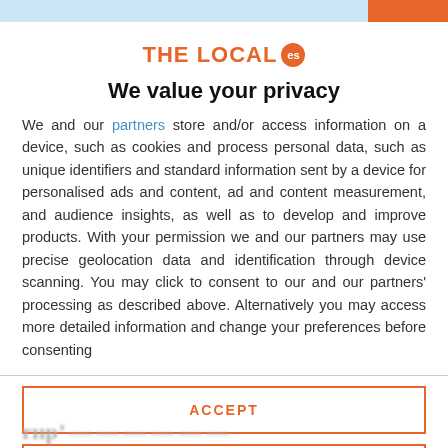[Figure (logo): THE LOCAL es logo with orange text and orange circle badge with 'es']
We value your privacy
We and our partners store and/or access information on a device, such as cookies and process personal data, such as unique identifiers and standard information sent by a device for personalised ads and content, ad and content measurement, and audience insights, as well as to develop and improve products. With your permission we and our partners may use precise geolocation data and identification through device scanning. You may click to consent to our and our partners' processing as described above. Alternatively you may access more detailed information and change your preferences before consenting
ACCEPT
MORE OPTIONS